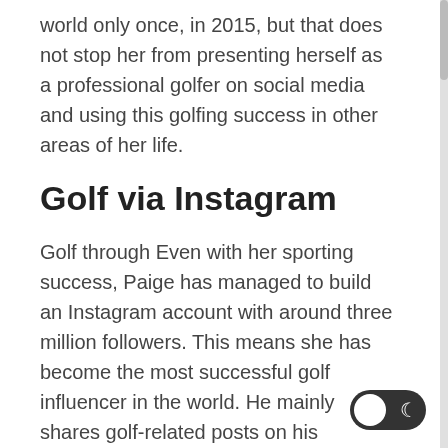world only once, in 2015, but that does not stop her from presenting herself as a professional golfer on social media and using this golfing success in other areas of her life.
Golf via Instagram
Golf through Even with her sporting success, Paige has managed to build an Instagram account with around three million followers. This means she has become the most successful golf influencer in the world. He mainly shares golf-related posts on his account, but he also covers other sports and topics, such as pets.